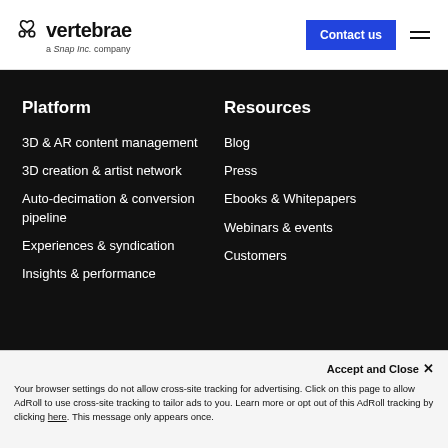vertebrae a Snap Inc. company | Contact us
Platform
3D & AR content management
3D creation & artist network
Auto-decimation & conversion pipeline
Experiences & syndication
Insights & performance
Resources
Blog
Press
Ebooks & Whitepapers
Webinars & events
Customers
Accept and Close ✕
Your browser settings do not allow cross-site tracking for advertising. Click on this page to allow AdRoll to use cross-site tracking to tailor ads to you. Learn more or opt out of this AdRoll tracking by clicking here. This message only appears once.